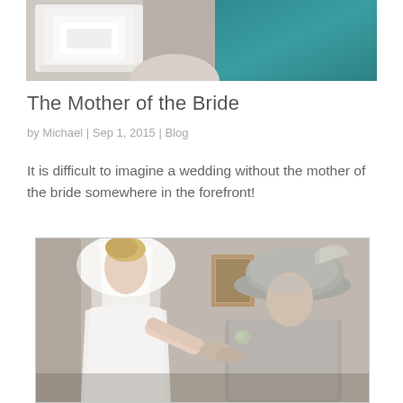[Figure (photo): Top portion of a wedding photo showing a white wedding cake and a person in a teal dress in the background]
The Mother of the Bride
by Michael | Sep 1, 2015 | Blog
It is difficult to imagine a wedding without the mother of the bride somewhere in the forefront!
[Figure (photo): A bride in a white strapless gown and veil standing next to an older woman (mother of the bride) wearing a grey suit and decorative hat, holding hands and looking at each other]